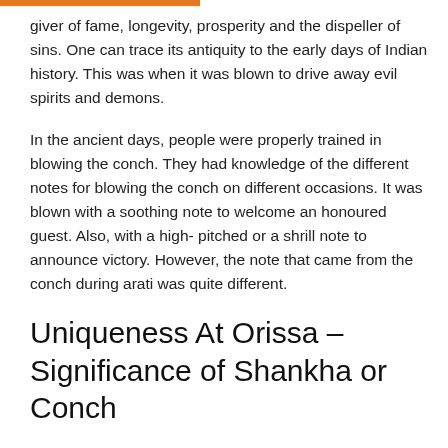giver of fame, longevity, prosperity and the dispeller of sins. One can trace its antiquity to the early days of Indian history. This was when it was blown to drive away evil spirits and demons.
In the ancient days, people were properly trained in blowing the conch. They had knowledge of the different notes for blowing the conch on different occasions. It was blown with a soothing note to welcome an honoured guest. Also, with a high- pitched or a shrill note to announce victory. However, the note that came from the conch during arati was quite different.
Uniqueness At Orissa – Significance of Shankha or Conch
In Orissa, there is a community wherein people can blow two